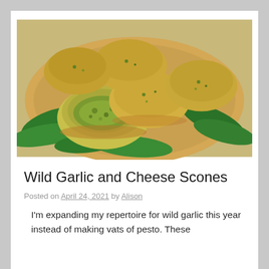[Figure (photo): Photo of wild garlic and cheese scones on a wooden board, garnished with large green wild garlic leaves. One scone is broken open showing the green herb-flecked interior.]
Wild Garlic and Cheese Scones
Posted on April 24, 2021 by Alison
I'm expanding my repertoire for wild garlic this year instead of making vats of pesto. These